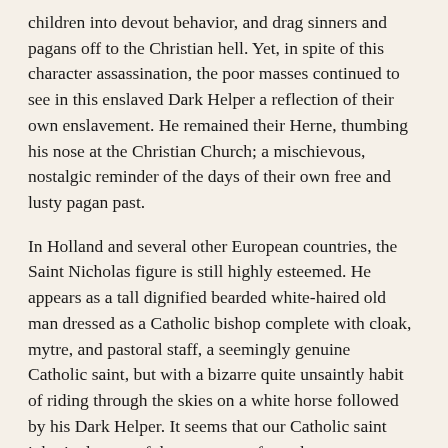children into devout behavior, and drag sinners and pagans off to the Christian hell. Yet, in spite of this character assassination, the poor masses continued to see in this enslaved Dark Helper a reflection of their own enslavement. He remained their Herne, thumbing his nose at the Christian Church; a mischievous, nostalgic reminder of the days of their own free and lusty pagan past.
In Holland and several other European countries, the Saint Nicholas figure is still highly esteemed. He appears as a tall dignified bearded white-haired old man dressed as a Catholic bishop complete with cloak, mytre, and pastoral staff, a seemingly genuine Catholic saint, but with a bizarre quite unsaintly habit of riding through the skies on a white horse followed by his Dark Helper. It seems that our Catholic saint inherited some of these customs from the pagan Germanic god Wodan, who had also been a bearded, white-haired old man, also dressed in a hat and cloak, carried a staff (or spear), and rode through the sky on a white horse, accompanied by a dark helper.